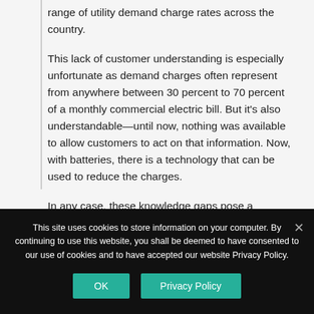range of utility demand charge rates across the country.
This lack of customer understanding is especially unfortunate as demand charges often represent from anywhere between 30 percent to 70 percent of a monthly commercial electric bill. But it's also understandable—until now, nothing was available to allow customers to act on that information. Now, with batteries, there is a technology that can be used to reduce the charges.
In any case, these knowledge gaps pose a significant barrier not only to commercial
This site uses cookies to store information on your computer. By continuing to use this website, you shall be deemed to have consented to our use of cookies and to have accepted our website Privacy Policy.